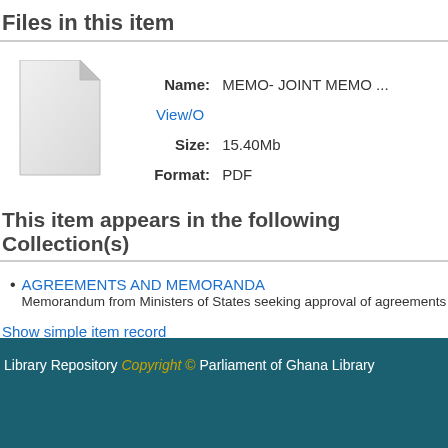Files in this item
[Figure (illustration): Generic file/document icon (white folded-corner page)]
Name: MEMO- JOINT MEMO ...
Size: 15.40Mb
Format: PDF
This item appears in the following Collection(s)
AGREEMENTS AND MEMORANDA
Memorandum from Ministers of States seeking approval of agreements
Show simple item record
Library Repository Copyright © Parliament of Ghana Library